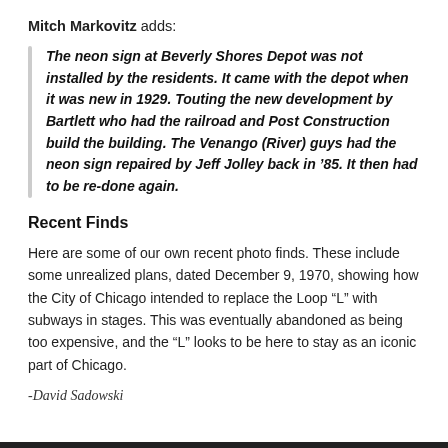Mitch Markovitz adds:
The neon sign at Beverly Shores Depot was not installed by the residents. It came with the depot when it was new in 1929. Touting the new development by Bartlett who had the railroad and Post Construction build the building. The Venango (River) guys had the neon sign repaired by Jeff Jolley back in '85. It then had to be re-done again.
Recent Finds
Here are some of our own recent photo finds. These include some unrealized plans, dated December 9, 1970, showing how the City of Chicago intended to replace the Loop “L” with subways in stages. This was eventually abandoned as being too expensive, and the “L” looks to be here to stay as an iconic part of Chicago.
-David Sadowski